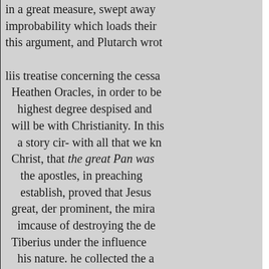in a great measure, swept away improbability which loads their this argument, and Plutarch wrot liis treatise concerning the cessa Heathen Oracles, in order to be highest degree despised and will be with Christianity. In this a story cir- with all that we kn Christ, that the great Pan was the apostles, in preaching establish, proved that Jesus great, der prominent, the mira imcause of destroying the de Tiberius under the influence his nature. he collected the a know what god he to his n resurrection of mankind, nelope." In the number of thes future state of retribution groun ed by Josephus : and as they i Jesus enlightened, then the m delegation that they should adv his consecra: became prop